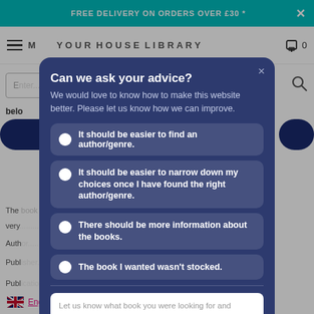FREE DELIVERY ON ORDERS OVER £30 *
Can we ask your advice? We would love to know how to make this website better. Please let us know how we can improve.
It should be easier to find an author/genre.
It should be easier to narrow down my choices once I have found the right author/genre.
There should be more information about the books.
The book I wanted wasn't stocked.
Let us know what book you were looking for and anything else you would like us to know.